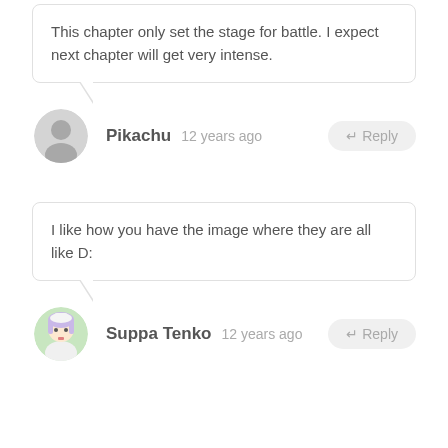This chapter only set the stage for battle. I expect next chapter will get very intense.
Pikachu  12 years ago
I like how you have the image where they are all like D:
Suppa Tenko  12 years ago